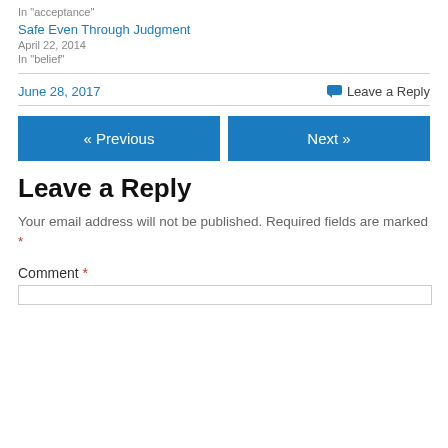In "acceptance"
Safe Even Through Judgment
April 22, 2014
In "belief"
June 28, 2017   Leave a Reply
« Previous
Next »
Leave a Reply
Your email address will not be published. Required fields are marked *
Comment *